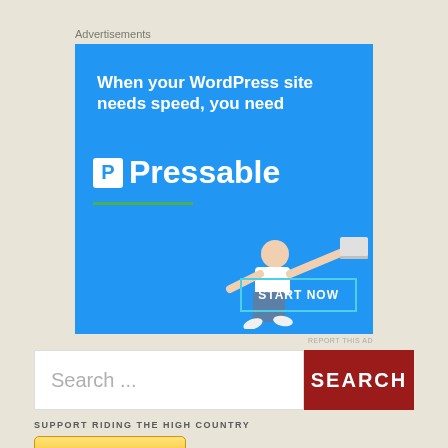Advertisements
[Figure (illustration): Pressable WordPress hosting advertisement banner. Blue background with white bold text 'When your WordPress site needs speed, you need Pressable'. White P logo box, brand name 'Pressable', green underline, flying man holding laptop, 'START NOW' button with teal border.]
REPORT THIS AD
Search ...
SEARCH
SUPPORT RIDING THE HIGH COUNTRY
[Figure (illustration): Donate with PayPal button - gold gradient button with PayPal logo and text 'Donate with PayPal']